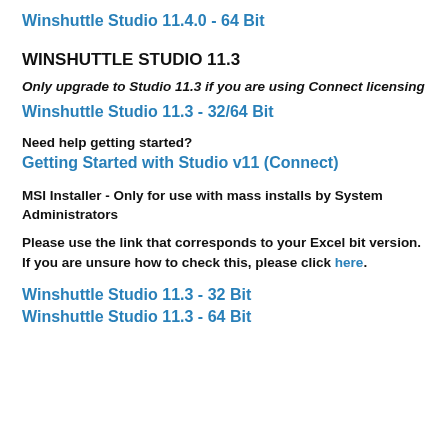Winshuttle Studio 11.4.0 - 64 Bit
WINSHUTTLE STUDIO 11.3
Only upgrade to Studio 11.3 if you are using Connect licensing
Winshuttle Studio 11.3 - 32/64 Bit
Need help getting started?
Getting Started with Studio v11 (Connect)
MSI Installer - Only for use with mass installs by System Administrators
Please use the link that corresponds to your Excel bit version. If you are unsure how to check this, please click here.
Winshuttle Studio 11.3 - 32 Bit
Winshuttle Studio 11.3 - 64 Bit